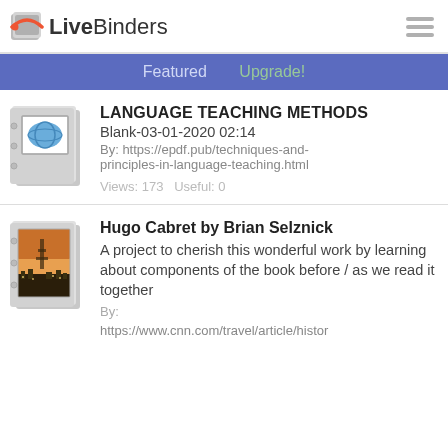LiveBinders
Featured   Upgrade!
LANGUAGE TEACHING METHODS
Blank-03-01-2020 02:14
By: https://epdf.pub/techniques-and-principles-in-language-teaching.html
Views: 173   Useful: 0
Hugo Cabret by Brian Selznick
A project to cherish this wonderful work by learning about components of the book before / as we read it together
By:
https://www.cnn.com/travel/article/histor